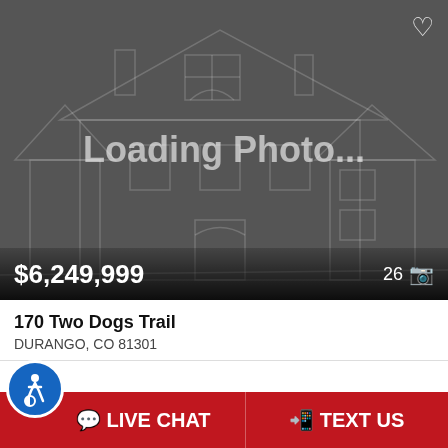[Figure (illustration): Loading photo placeholder with dark gray background showing a wireframe house outline and the text 'Loading Photo...' in gray. A heart icon is shown in the top-right corner. Price $6,249,999 shown at bottom left and '26' with camera icon at bottom right.]
$6,249,999
26
170 Two Dogs Trail
DURANGO, CO 81301
Two Dogs
4 Beds
4F 1 1/2 Baths
4,760 Sq Ft
LIVE CHAT
TEXT US